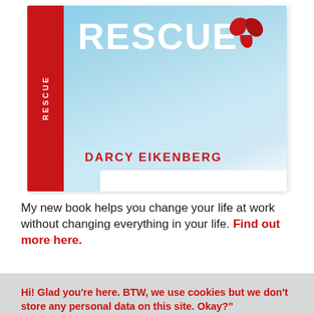[Figure (photo): Book cover of 'Rescue' by Darcy Eikenberg. Shows a book with a red spine with text 'RESCUE' vertically, and the front cover has a light blue sky background with large white bold text 'RESCUE', a red bird/heart icon, and the author name 'DARCY EIKENBERG' in red letters.]
My new book helps you change your life at work without changing everything in your life. Find out more here.
Hi! Glad you're here. BTW, we use cookies but we don't store any personal data on this site. Okay?"
We never sell your personal info, okay?.